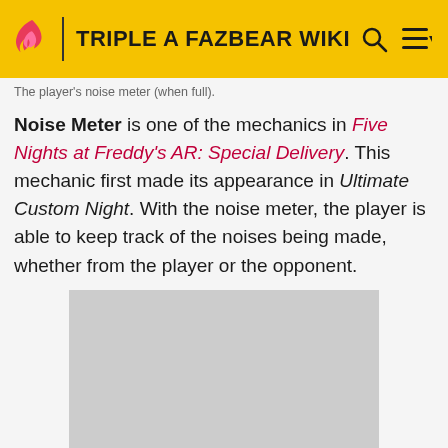TRIPLE A FAZBEAR WIKI
The player's noise meter (when full).
Noise Meter is one of the mechanics in Five Nights at Freddy's AR: Special Delivery. This mechanic first made its appearance in Ultimate Custom Night. With the noise meter, the player is able to keep track of the noises being made, whether from the player or the opponent.
[Figure (photo): Gray placeholder image block representing a screenshot or image of the noise meter game UI]